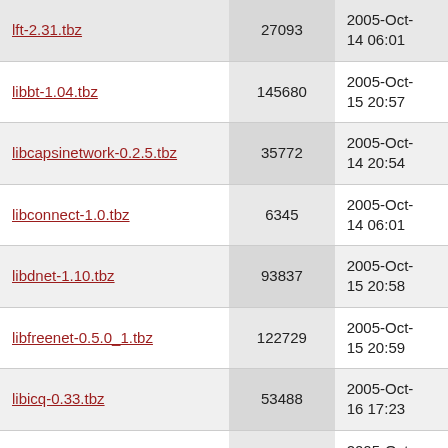| Filename | Size | Date |
| --- | --- | --- |
| lft-2.31.tbz | 27093 | 2005-Oct-14 06:01 |
| libbt-1.04.tbz | 145680 | 2005-Oct-15 20:57 |
| libcapsinetwork-0.2.5.tbz | 35772 | 2005-Oct-14 20:54 |
| libconnect-1.0.tbz | 6345 | 2005-Oct-14 06:01 |
| libdnet-1.10.tbz | 93837 | 2005-Oct-15 20:58 |
| libfreenet-0.5.0_1.tbz | 122729 | 2005-Oct-15 20:59 |
| libicq-0.33.tbz | 53488 | 2005-Oct-16 17:23 |
| libicq2000-0.3.2_1.tbz | 560045 | 2005-Oct-15 02:31 |
| libmms-0.1_1.tbz | 30577 | 2005-Oct-16 17:54 |
| libmsn-3.2.tbz | 314136 | 2005-Oct-14 22:26 |
| libnet-1.0.2a,1.tbz | 59264 | 2005-Oct-14 23:54 |